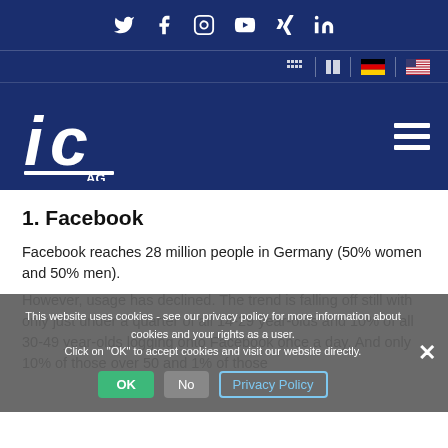Social media icons: Twitter, Facebook, Instagram, YouTube, Xing, LinkedIn
Navigation and language selector: German flag, US flag
[Figure (logo): IC AG company logo in white on dark blue background with hamburger menu icon]
1. Facebook
Facebook reaches 28 million people in Germany (50% women and 50% men). However, usage has declined. The trend is falling off still with only just under a quarter of all 14-29 year-olds and 10% of all 30-49 year-olds logging onto Facebook once a day. And only 10% of those over 50 and 1% of those
This website uses cookies - see our privacy policy for more information about cookies and your rights as a user. Click on "OK" to accept cookies and visit our website directly.